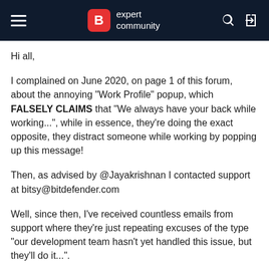B expert community
Hi all,
I complained on June 2020, on page 1 of this forum, about the annoying "Work Profile" popup, which FALSELY CLAIMS that "We always have your back while working...", while in essence, they're doing the exact opposite, they distract someone while working by popping up this message!
Then, as advised by @Jayakrishnan I contacted support at bitsy@bitdefender.com
Well, since then, I've received countless emails from support where they're just repeating excuses of the type "our development team hasn't yet handled this issue, but they'll do it...".